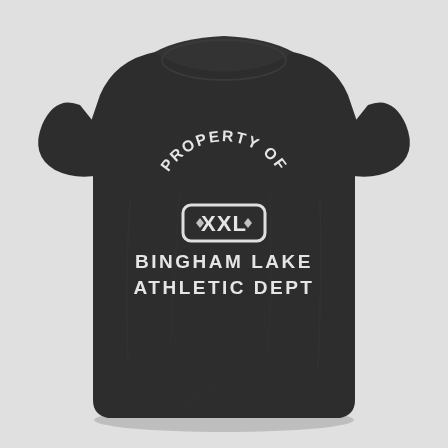[Figure (illustration): A dark charcoal heather grey women's t-shirt laid flat against a light grey background. The shirt has a crew neck, short sleeves, and displays text in a vintage athletic style. Text reads: 'PROPERTY OF' in an arc at the top, then a rectangular box containing 'XXL' in large letters, then 'BINGHAM LAKE' and 'ATHLETIC DEPT' below. All text is in a distressed white with a collegiate font.]